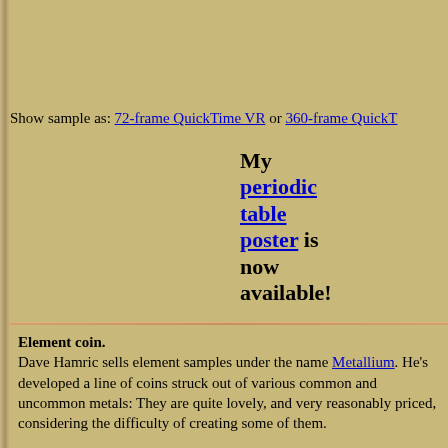Show sample as: 72-frame QuickTime VR or 360-frame QuickT...
My periodic table poster is now available!
Element coin. Dave Hamric sells element samples under the name Metallium. He's developed a line of coins struck out of various common and uncommon metals: They are quite lovely, and very reasonably priced, considering the difficulty of creating some of them.